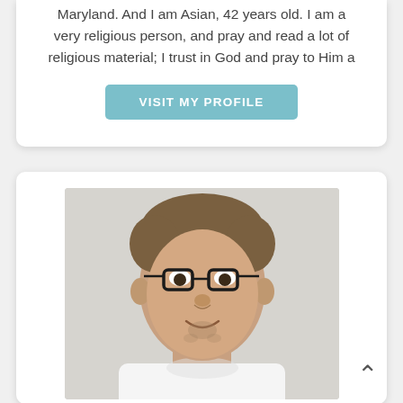Maryland. And I am Asian, 42 years old. I am a very religious person, and pray and read a lot of religious material; I trust in God and pray to Him a
VISIT MY PROFILE
[Figure (photo): Headshot photo of a man with short brown hair, wearing glasses and a white shirt, smiling slightly against a light background.]